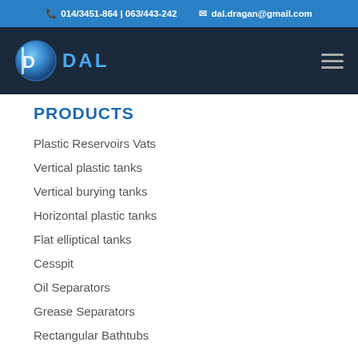📞 014/3451-864 | 063/443-242   ✉ dal.dragan@gmail.com
[Figure (logo): DAL company logo with blue circular icon and DAL text in blue on dark navy navigation bar with hamburger menu icon]
PRODUCTS
Plastic Reservoirs Vats
Vertical plastic tanks
Vertical burying tanks
Horizontal plastic tanks
Flat elliptical tanks
Cesspit
Oil Separators
Grease Separators
Rectangular Bathtubs